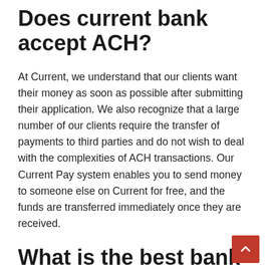Does current bank accept ACH?
At Current, we understand that our clients want their money as soon as possible after submitting their application. We also recognize that a large number of our clients require the transfer of payments to third parties and do not wish to deal with the complexities of ACH transactions. Our Current Pay system enables you to send money to someone else on Current for free, and the funds are transferred immediately once they are received.
What is the best bank in Ontario?